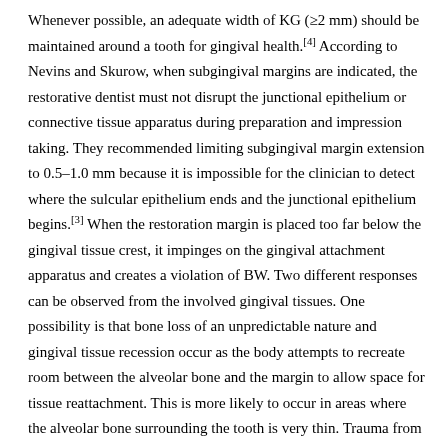Whenever possible, an adequate width of KG (≥2 mm) should be maintained around a tooth for gingival health.[4] According to Nevins and Skurow, when subgingival margins are indicated, the restorative dentist must not disrupt the junctional epithelium or connective tissue apparatus during preparation and impression taking. They recommended limiting subgingival margin extension to 0.5–1.0 mm because it is impossible for the clinician to detect where the sulcular epithelium ends and the junctional epithelium begins.[3] When the restoration margin is placed too far below the gingival tissue crest, it impinges on the gingival attachment apparatus and creates a violation of BW. Two different responses can be observed from the involved gingival tissues. One possibility is that bone loss of an unpredictable nature and gingival tissue recession occur as the body attempts to recreate room between the alveolar bone and the margin to allow space for tissue reattachment. This is more likely to occur in areas where the alveolar bone surrounding the tooth is very thin. Trauma from restorative procedures can play a major role in causing this fragile tissue to recede. The other possibility is that the bone level appears to remain unchanged, but gingival inflammation develops and persists.

In this case, internal bevel gingivectomy was taken as the treatment of choice, to